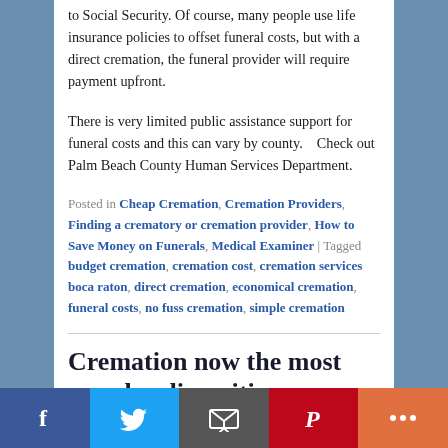to Social Security. Of course, many people use life insurance policies to offset funeral costs, but with a direct cremation, the funeral provider will require payment upfront.
There is very limited public assistance support for funeral costs and this can vary by county.   Check out Palm Beach County Human Services Department.
Posted in Cheap Cremation, Cremation Providers, Finding a crematory or cremation provider, How to Save Money on Funerals, Medical Examiner | Tagged budget cremation, cremation cost, cremation services boca raton, direct cremation, economical cremation, funeral costs, no fuss cremation, simple cremation
Cremation now the most popular disposition
Social share bar: Facebook, Twitter, Email, Pinterest, More